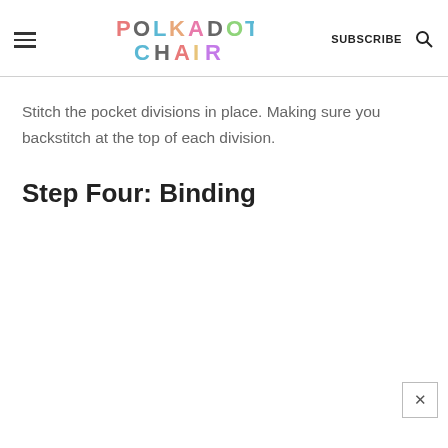POLKADOT CHAIR | SUBSCRIBE
Stitch the pocket divisions in place. Making sure you backstitch at the top of each division.
Step Four: Binding